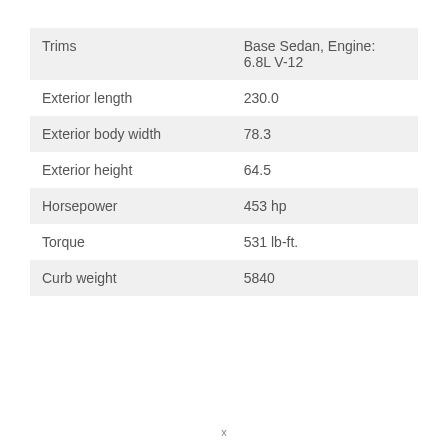|  |  |
| --- | --- |
| Trims | Base Sedan, Engine:
6.8L V-12 |
| Exterior length | 230.0 |
| Exterior body width | 78.3 |
| Exterior height | 64.5 |
| Horsepower | 453 hp |
| Torque | 531 lb-ft. |
| Curb weight | 5840 |
x